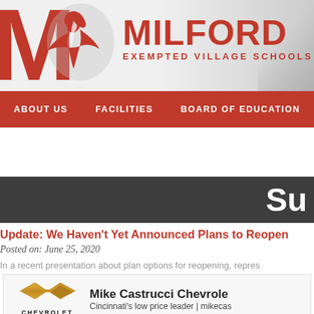[Figure (logo): Milford Exempted Village Schools logo with large red M, eagle graphic, MILFORD in bold red, EXEMPTED VILLAGE SCHOOLS subtitle]
ABOUT US   FACILITIES   BOARD OF EDUCATION
Su
Update: We Haven't Yet Announced Plans to Reopen
Posted on: June 25, 2020
In a recent presentation about plan options for reopening, repres
[Figure (logo): Mike Castrucci Chevrolet advertisement with Chevrolet bowtie logo and CHEVROLET wordmark. Text: Mike Castrucci Chevrolet — Cincinnati's low price leader | mikecas]